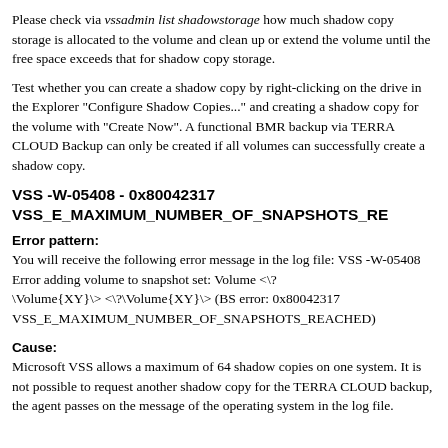Please check via vssadmin list shadowstorage how much shadow copy storage is allocated to the volume and clean up or extend the volume until the free space exceeds that for shadow copy storage.
Test whether you can create a shadow copy by right-clicking on the drive in the Explorer "Configure Shadow Copies..." and creating a shadow copy for the volume with "Create Now". A functional BMR backup via TERRA CLOUD Backup can only be created if all volumes can successfully create a shadow copy.
VSS -W-05408 - 0x80042317 VSS_E_MAXIMUM_NUMBER_OF_SNAPSHOTS_RE
Error pattern:
You will receive the following error message in the log file: VSS -W-05408 Error adding volume to snapshot set: Volume <\?\Volume{XY}\> <\?\Volume{XY}\> (BS error: 0x80042317 VSS_E_MAXIMUM_NUMBER_OF_SNAPSHOTS_REACHED)
Cause:
Microsoft VSS allows a maximum of 64 shadow copies on one system. It is not possible to request another shadow copy for the TERRA CLOUD backup, the agent passes on the message of the operating system in the log file.